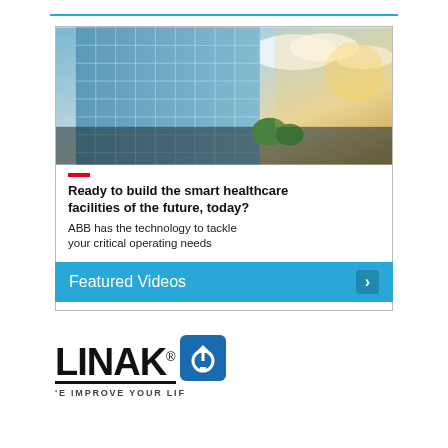[Figure (illustration): ABB advertisement with a modern glass office building photo at top, red dash, bold headline 'Ready to build the smart healthcare facilities of the future, today?', subtext 'ABB has the technology to tackle your critical operating needs', a red 'DISCOVER MORE' button, and ABB logo in red]
Featured Videos
[Figure (logo): LINAK logo with stylized text and registered trademark symbol, blue circular icon with upward arrow, tagline 'WE IMPROVE YOUR LIFE']